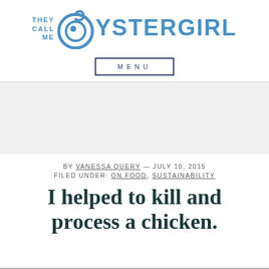[Figure (logo): They Call Me Oystergirl blog logo with blue oyster shell graphic and blue text]
MENU
[Figure (other): Gray banner/advertisement area]
BY VANESSA QUERY — JULY 10, 2015
FILED UNDER: ON FOOD, SUSTAINABILITY
I helped to kill and process a chicken.